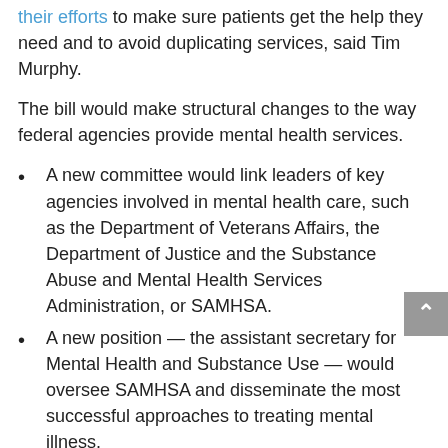their efforts to make sure patients get the help they need and to avoid duplicating services, said Tim Murphy.
The bill would make structural changes to the way federal agencies provide mental health services.
A new committee would link leaders of key agencies involved in mental health care, such as the Department of Veterans Affairs, the Department of Justice and the Substance Abuse and Mental Health Services Administration, or SAMHSA.
A new position — the assistant secretary for Mental Health and Substance Use — would oversee SAMHSA and disseminate the most successful approaches to treating mental illness.
An advisory board, the National Mental Health and Substance Use Policy Laboratory, would also analyze treatments and services to help decide which ones should be expanded.
Chris Murphy said he wishes the final bill had included more resources for outpatient mental health care, as well as